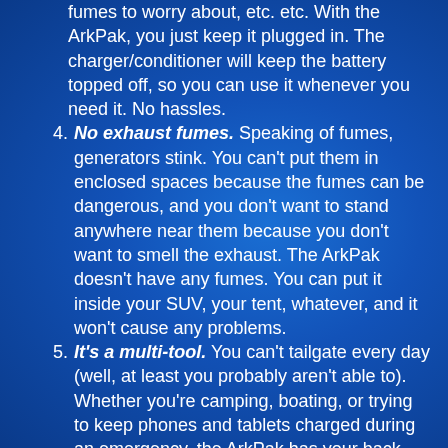fumes to worry about, etc. etc. With the ArkPak, you just keep it plugged in. The charger/conditioner will keep the battery topped off, so you can use it whenever you need it. No hassles.
4. No exhaust fumes. Speaking of fumes, generators stink. You can't put them in enclosed spaces because the fumes can be dangerous, and you don't want to stand anywhere near them because you don't want to smell the exhaust. The ArkPak doesn't have any fumes. You can put it inside your SUV, your tent, whatever, and it won't cause any problems.
5. It's a multi-tool. You can't tailgate every day (well, at least you probably aren't able to). Whether you're camping, boating, or trying to keep phones and tablets charged during an emergency, the ArkPak has your back. It's even capable of serving as a dual battery system for your vehicle, reducing the